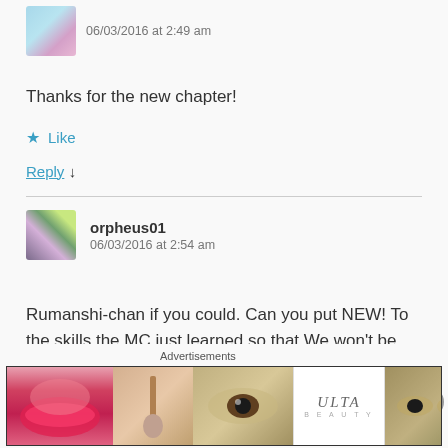06/03/2016 at 2:49 am
Thanks for the new chapter!
★ Like
Reply ↓
orpheus01
06/03/2016 at 2:54 am
Rumanshi-chan if you could. Can you put NEW! To the skills the MC just learned so that We won't be confused about it's status
[Figure (other): Advertisement banner with Ulta Beauty ad showing cosmetics/makeup imagery with 'SHOP NOW' text]